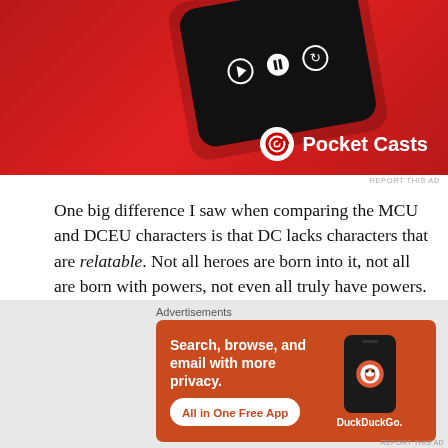[Figure (screenshot): Pocket Casts advertisement showing a smartphone on a red background with the Pocket Casts logo and name in white]
One big difference I saw when comparing the MCU and DCEU characters is that DC lacks characters that are relatable. Not all heroes are born into it, not all are born with powers, not even all truly have powers. So, why is it so hard to relate to the DCEU characters? Maybe it's because they tend to be too powerful. Maybe it's because they are written to be such standoffish characters with
Advertisements
[Figure (screenshot): DuckDuckGo advertisement on orange background: 'Search, browse, and email with more privacy. All in One Free App' with DuckDuckGo logo on a smartphone]